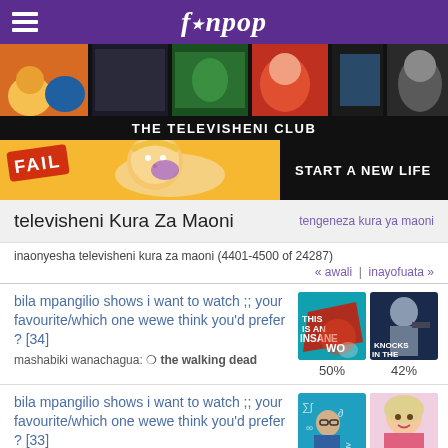fanpop
[Figure (screenshot): Fanpop TV shows banner collage with multiple TV show images]
THE TELEVISHENI CLUB
[Figure (screenshot): Advertisement banner: FAIL image left, character in middle, START A NEW LIFE text on dark right side]
televisheni Kura Za Maoni
tengeneza kura ya maoni
inaonyesha televisheni kura za maoni (4401-4500 of 24287)
« awali  |  inayofuata »
bila mpangilio shows i want to watch ;; your favourite/which one wewe think you'd prefer ? [34]
mashabiki wanachagua: ❍ the walking dead
[Figure (photo): This Is An Insane World TV show image - teal/red graphic]
[Figure (photo): I'm the One Who Knocks In the Dark - man with gun dark background]
50%
42%
bila mpangilio shows i want to watch ;; your favourite/which one wewe think you'd prefer ? [33]
mashabiki wanachagua: ❍ shameless
[Figure (photo): Man with glasses in blue outfit against teal background with math equations]
[Figure (photo): Blonde woman in pink top]
57%
22%